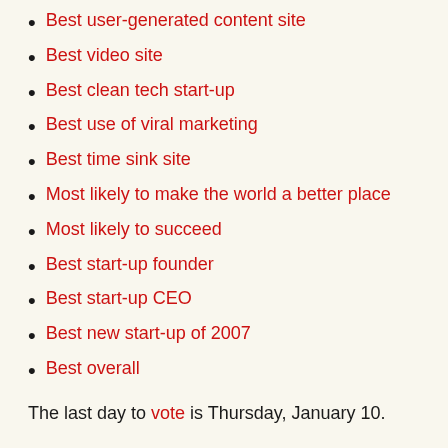Best user-generated content site
Best video site
Best clean tech start-up
Best use of viral marketing
Best time sink site
Most likely to make the world a better place
Most likely to succeed
Best start-up founder
Best start-up CEO
Best new start-up of 2007
Best overall
The last day to vote is Thursday, January 10.